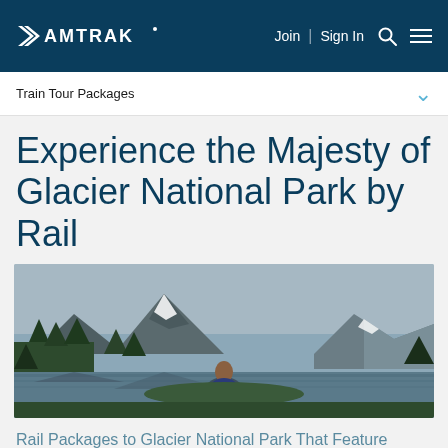Amtrak | Join | Sign In
Train Tour Packages
Experience the Majesty of Glacier National Park by Rail
[Figure (photo): A woman sitting in front of a mountain lake in Glacier National Park, with dense evergreen forest, dramatic snow-capped peaks, and calm reflective water under overcast skies.]
Rail Packages to Glacier National Park That Feature Breathtaking Views Along the Way